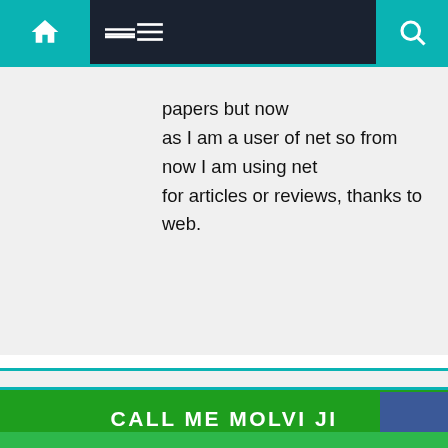Navigation bar with home, menu, and search icons
papers but now as I am a user of net so from now I am using net for articles or reviews, thanks to web.
Pumlorly
am
proventil dosage price of albuterol asthma medications inhalers starts with a d buy asthma inhalers without an rx
[Figure (other): WhatsApp 'How can I help you?' chat widget overlay]
[Figure (other): Facebook social button]
CALL ME MOLVI JI